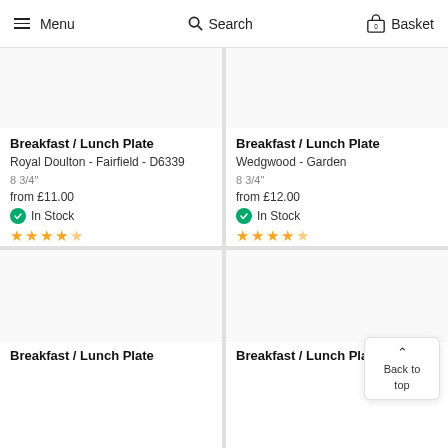Menu  Search  Basket 0
Breakfast / Lunch Plate
Royal Doulton - Fairfield - D6339
8 3/4"
from £11.00
In Stock
★★★★☆
Breakfast / Lunch Plate
Wedgwood - Garden
8 3/4"
from £12.00
In Stock
★★★★☆
Breakfast / Lunch Plate
Breakfast / Lunch Plate